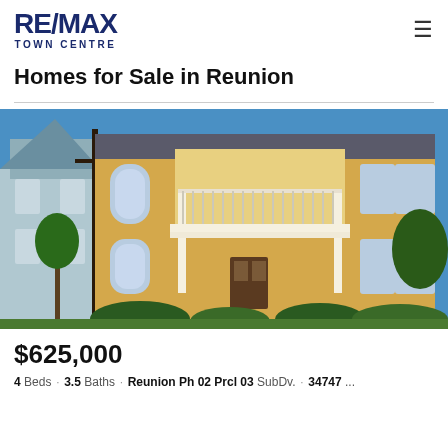RE/MAX TOWN CENTRE
Homes for Sale in Reunion
[Figure (photo): Two-story yellow house with white balcony railing and arched windows, blue sky background, adjacent to a light blue house]
$625,000
4 Beds · 3.5 Baths · Reunion Ph 02 Prcl 03 SubDv. · 34747 ...